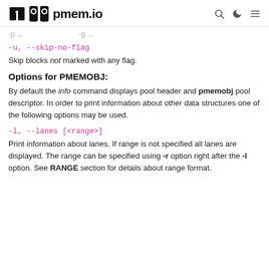pmem.io
-p ... -g ...
-u, --skip-no-flag
Skip blocks not marked with any flag.
Options for PMEMOBJ:
By default the info command displays pool header and pmemobj pool descriptor. In order to print information about other data structures one of the following options may be used.
-l, --lanes [<range>]
Print information about lanes. If range is not specified all lanes are displayed. The range can be specified using -r option right after the -l option. See RANGE section for details about range format.